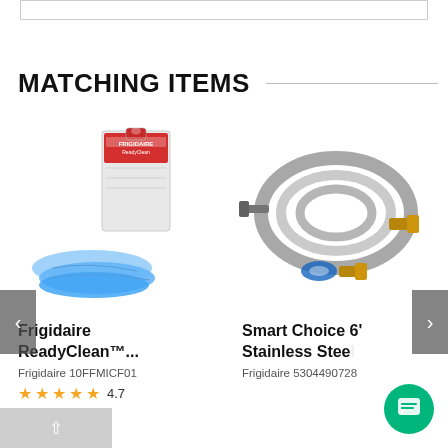MATCHING ITEMS
[Figure (photo): Frigidaire ReadyClean product box with blue microfiber cloths]
Frigidaire ReadyClean™...
Frigidaire 10FFMICF01
4.7 stars
[Figure (photo): Smart Choice 6' Stainless Steel hose kit with fittings and tape]
Smart Choice 6' Stainless Stee...
Frigidaire 5304490728